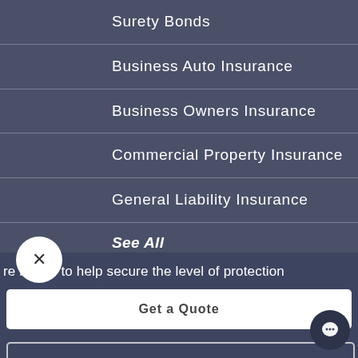Surety Bonds
Business Auto Insurance
Business Owners Insurance
Commercial Property Insurance
General Liability Insurance
See All
re happy to help secure the level of protection
Get a Quote
Client Center